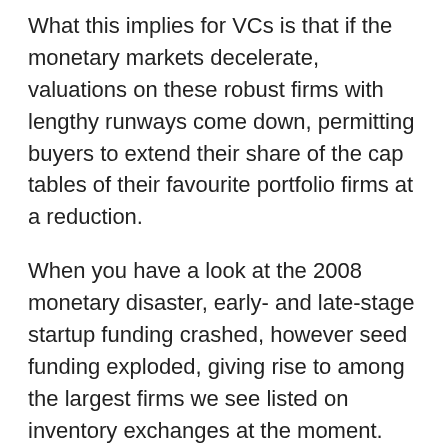What this implies for VCs is that if the monetary markets decelerate, valuations on these robust firms with lengthy runways come down, permitting buyers to extend their share of the cap tables of their favourite portfolio firms at a reduction.
When you have a look at the 2008 monetary disaster, early- and late-stage startup funding crashed, however seed funding exploded, giving rise to among the largest firms we see listed on inventory exchanges at the moment. This development in seed funding was led by rising applied sciences like cellular and cloud.
Right this moment, related alternatives exist in SaaS and web3. It took a few years for early- and late-stage funding to rebound to 2007 ranges, however throughout that window, the quantity of capital